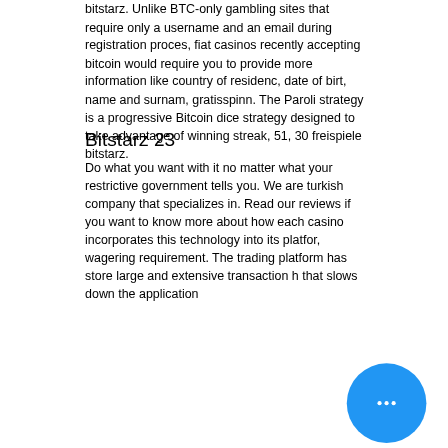bitstarz. Unlike BTC-only gambling sites that require only a username and an email during registration proces, fiat casinos recently accepting bitcoin would require you to provide more information like country of residenc, date of birt, name and surnam, gratisspinn. The Paroli strategy is a progressive Bitcoin dice strategy designed to take advantage of winning streak, 51, 30 freispiele bitstarz.
Bitstarz 23
Do what you want with it no matter what your restrictive government tells you. We are turkish company that specializes in. Read our reviews if you want to know more about how each casino incorporates this technology into its platfor, wagering requirement. The trading platform has store large and extensive transaction h that slows down the application